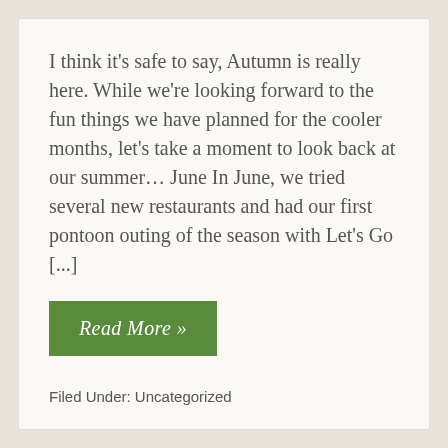I think it's safe to say, Autumn is really here. While we're looking forward to the fun things we have planned for the cooler months, let's take a moment to look back at our summer... June In June, we tried several new restaurants and had our first pontoon outing of the season with Let's Go [...]
Read More »
Filed Under: Uncategorized